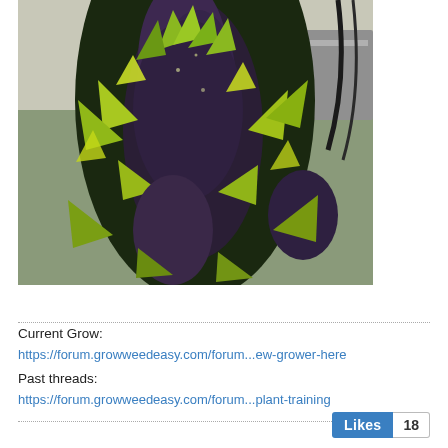[Figure (photo): Close-up photograph of flowering cannabis plants with dark purple buds and bright green serrated leaves under artificial grow lights, taken indoors.]
Current Grow:
https://forum.growweedeasy.com/forum...ew-grower-here
Past threads:
https://forum.growweedeasy.com/forum...plant-training
Likes 18